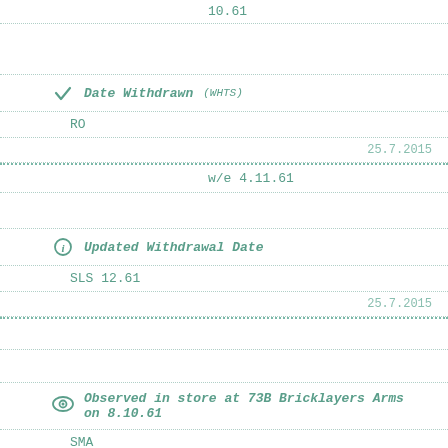10.61
Date Withdrawn (WHTS)
RO
25.7.2015
w/e 4.11.61
Updated Withdrawal Date
SLS 12.61
25.7.2015
Observed in store at 73B Bricklayers Arms on 8.10.61
SMA
+ 12.8.2016